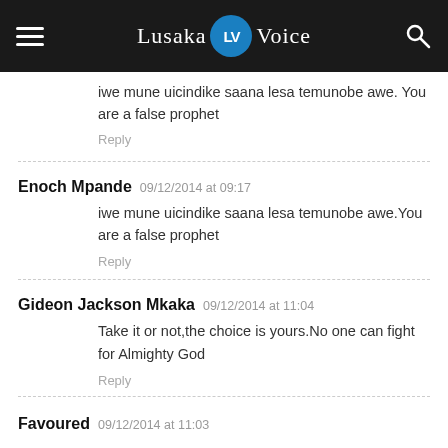Lusaka LV Voice
iwe mune uicindike saana lesa temunobe awe. You are a false prophet
Reply
Enoch Mpande 09/12/2014 at 09:17
iwe mune uicindike saana lesa temunobe awe.You are a false prophet
Reply
Gideon Jackson Mkaka 09/12/2014 at 11:04
Take it or not,the choice is yours.No one can fight for Almighty God
Reply
Favoured 09/12/2014 at 11:03